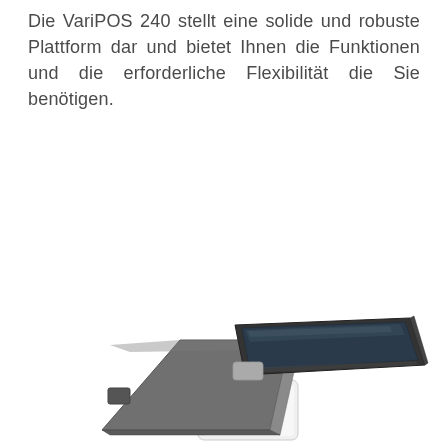Die VariPOS 240 stellt eine solide und robuste Plattform dar und bietet Ihnen die Funktionen und die erforderliche Flexibilität die Sie benötigen.
[Figure (photo): Product photo of the Poindus VariPOS 240 point-of-sale system, showing a gray back panel/tablet on the left and a customer-facing display screen tilted forward on the right, mounted on a white cylindrical stand base with 'Poindus' branding.]